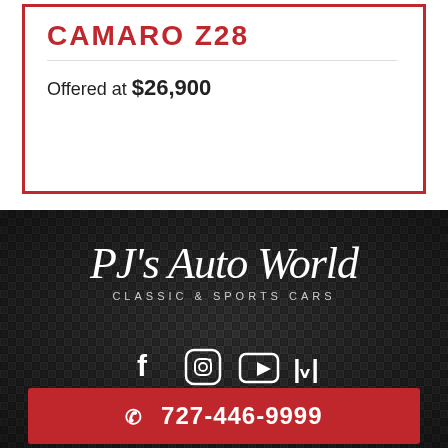CAMARO Z28
Offered at $26,900
[Figure (logo): PJ's Auto World Classic & Sports Cars logo on dark carbon fiber background]
Gulf to Bay
727-446-9999